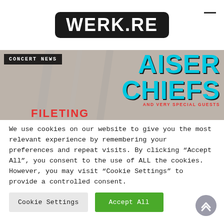[Figure (logo): WERK.RE logo in white text on dark rounded rectangle]
[Figure (photo): Concert news banner showing Kaiser Chiefs with very special guests text overlay on photo background]
We use cookies on our website to give you the most relevant experience by remembering your preferences and repeat visits. By clicking “Accept All”, you consent to the use of ALL the cookies. However, you may visit “Cookie Settings” to provide a controlled consent.
Cookie Settings
Accept All